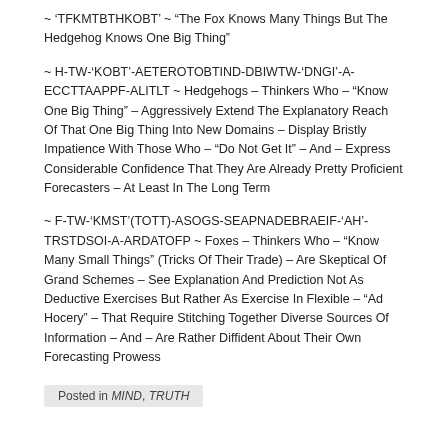~ ‘TFKMTBTHKOBT’ ~ “The Fox Knows Many Things But The Hedgehog Knows One Big Thing”
~ H-TW-‘KOBT’-AETEROTOBTIND-DBIWTW-‘DNGI’-A-ECCTTAAPPF-ALITLT ~ Hedgehogs – Thinkers Who – “Know One Big Thing” – Aggressively Extend The Explanatory Reach Of That One Big Thing Into New Domains – Display Bristly Impatience With Those Who – “Do Not Get It” – And – Express Considerable Confidence That They Are Already Pretty Proficient Forecasters – At Least In The Long Term
~ F-TW-‘KMST’(TOTT)-ASOGS-SEAPNADEBRAEIF-‘AH’-TRSTDSOI-A-ARDATOFP ~ Foxes – Thinkers Who – “Know Many Small Things” (Tricks Of Their Trade) – Are Skeptical Of Grand Schemes – See Explanation And Prediction Not As Deductive Exercises But Rather As Exercise In Flexible – “Ad Hocery” – That Require Stitching Together Diverse Sources Of Information – And – Are Rather Diffident About Their Own Forecasting Prowess
Posted in MIND, TRUTH